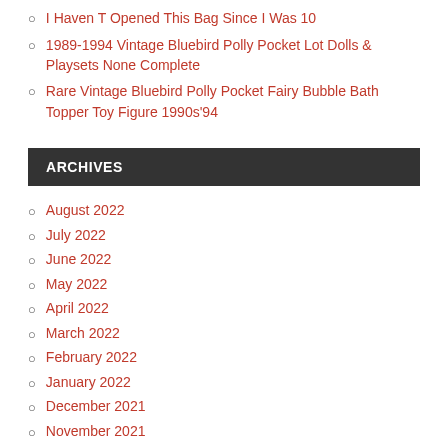I Haven T Opened This Bag Since I Was 10
1989-1994 Vintage Bluebird Polly Pocket Lot Dolls & Playsets None Complete
Rare Vintage Bluebird Polly Pocket Fairy Bubble Bath Topper Toy Figure 1990s’94
ARCHIVES
August 2022
July 2022
June 2022
May 2022
April 2022
March 2022
February 2022
January 2022
December 2021
November 2021